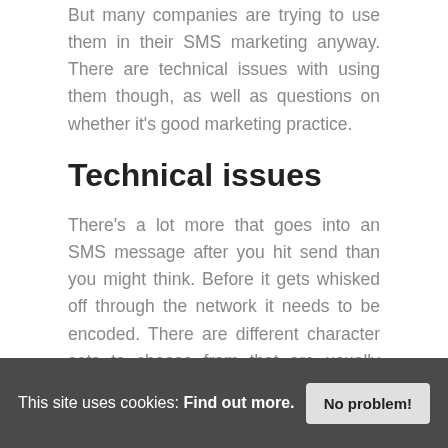But many companies are trying to use them in their SMS marketing anyway. There are technical issues with using them though, as well as questions on whether it's good marketing practice.
Technical issues
There's a lot more that goes into an SMS message after you hit send than you might think. Before it gets whisked off through the network it needs to be encoded. There are different character sets to choose from that are usually country, but sometimes network
This site uses cookies: Find out more.